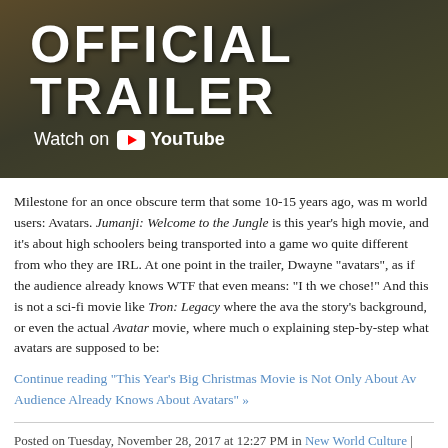[Figure (screenshot): Official Trailer thumbnail with 'Watch on YouTube' button overlay on a dark background]
Milestone for an once obscure term that some 10-15 years ago, was mostly known to world users: Avatars. Jumanji: Welcome to the Jungle is this year's high movie, and it's about high schoolers being transported into a game world quite different from who they are IRL. At one point in the trailer, Dwayne "avatars", as if the audience already knows WTF that even means: "I th we chose!" And this is not a sci-fi movie like Tron: Legacy where the ava the story's background, or even the actual Avatar movie, where much of explaining step-by-step what avatars are supposed to be:
Continue reading "This Year's Big Christmas Movie is Not Only About Av Audience Already Knows About Avatars" »
Posted on Tuesday, November 28, 2017 at 12:27 PM in New World Culture |
[Figure (screenshot): Tweet button and Pin It button]